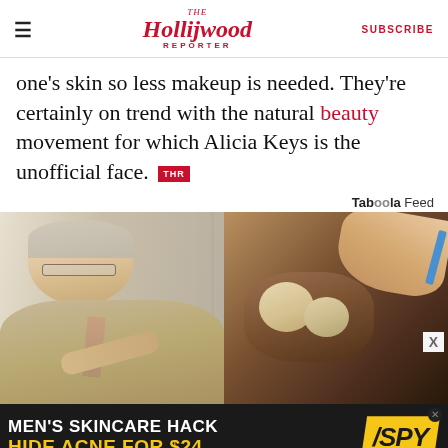The Hollywood Reporter | SUBSCRIBE
one's skin so less makeup is needed. They're certainly on trend with the natural beauty movement for which Alicia Keys is the unofficial face. THR
Taboola Feed
[Figure (photo): Split advertisement image: left side shows a doctor/physician in a tan suit pointing; right side shows a hand touching/scraping something. Below is a black banner ad reading MEN'S SKINCARE HACK HIDE ACNE FOR $24 with a SPY logo.]
MEN'S SKINCARE HACK HIDE ACNE FOR $24 / SPY